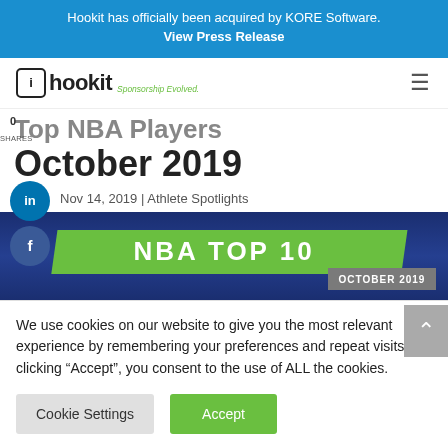Hookit has officially been acquired by KORE Software. View Press Release
[Figure (logo): Hookit logo with tagline 'Sponsorship Evolved.']
Top NBA Players October 2019
Nov 14, 2019 | Athlete Spotlights
[Figure (other): NBA TOP 10 OCTOBER 2019 banner image]
We use cookies on our website to give you the most relevant experience by remembering your preferences and repeat visits. By clicking “Accept”, you consent to the use of ALL the cookies.